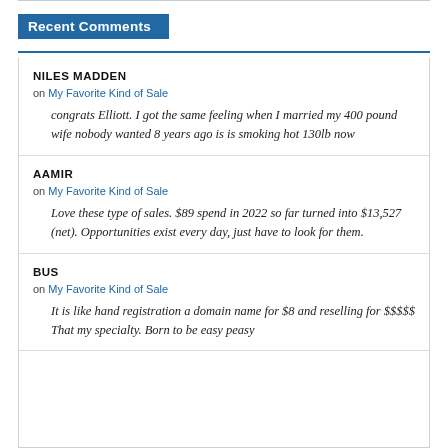Recent Comments
NILES MADDEN
on My Favorite Kind of Sale
congrats Elliott. I got the same feeling when I married my 400 pound wife nobody wanted 8 years ago is is smoking hot 130lb now
AAMIR
on My Favorite Kind of Sale
Love these type of sales. $89 spend in 2022 so far turned into $13,527 (net). Opportunities exist every day, just have to look for them.
BUS
on My Favorite Kind of Sale
It is like hand registration a domain name for $8 and reselling for $$$$$ That my specialty. Born to be easy peasy